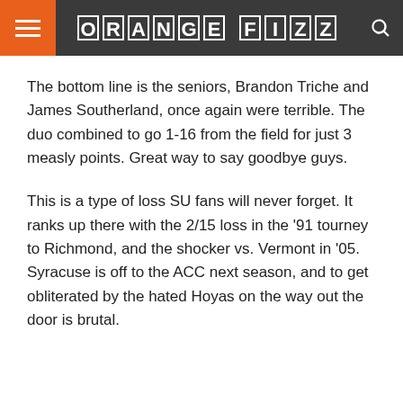ORANGE FIZZ
The bottom line is the seniors, Brandon Triche and James Southerland, once again were terrible. The duo combined to go 1-16 from the field for just 3 measly points. Great way to say goodbye guys.
This is a type of loss SU fans will never forget. It ranks up there with the 2/15 loss in the ’91 tourney to Richmond, and the shocker vs. Vermont in ’05. Syracuse is off to the ACC next season, and to get obliterated by the hated Hoyas on the way out the door is brutal.